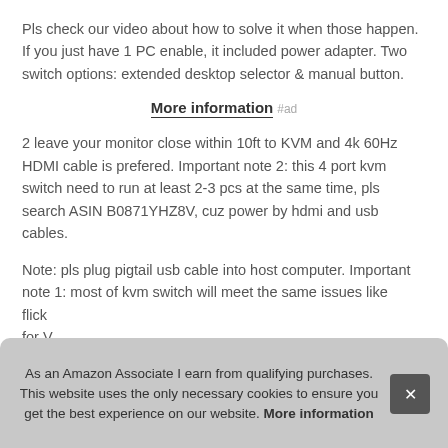Pls check our video about how to solve it when those happen. If you just have 1 PC enable, it included power adapter. Two switch options: extended desktop selector & manual button.
More information #ad
2 leave your monitor close within 10ft to KVM and 4k 60Hz HDMI cable is prefered. Important note 2: this 4 port kvm switch need to run at least 2-3 pcs at the same time, pls search ASIN B0871YHZ8V, cuz power by hdmi and usb cables.
Note: pls plug pigtail usb cable into host computer. Important note 1: most of kvm switch will meet the same issues like flick... for V... Upg... incl...
As an Amazon Associate I earn from qualifying purchases. This website uses the only necessary cookies to ensure you get the best experience on our website. More information